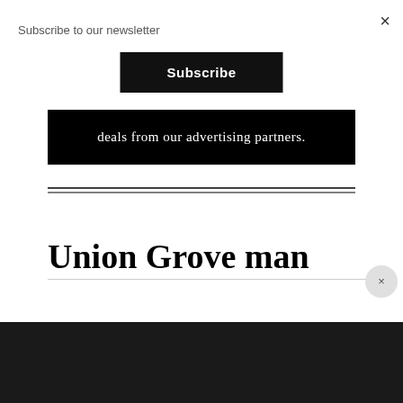Subscribe to our newsletter
×
Subscribe
deals from our advertising partners.
Union Grove man
×